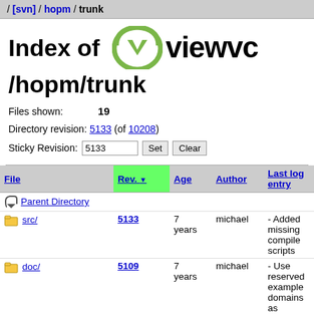/ [svn] / hopm / trunk
Index of /hopm/trunk
Files shown: 19
Directory revision: 5133 (of 10208)
Sticky Revision: 5133 [Set] [Clear]
| File | Rev. ▼ | Age | Author | Last log entry |
| --- | --- | --- | --- | --- |
| [Parent Directory] |  |  |  |  |
| src/ | 5133 | 7 years | michael | - Added missing compile scripts |
| doc/ | 5109 | 7 years | michael | - Use reserved example domains as specified in rfc2606 |